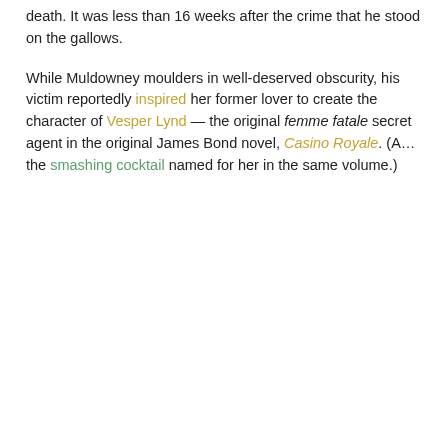death. It was less than 16 weeks after the crime that he stood on the gallows.
While Muldowney moulders in well-deserved obscurity, his victim reportedly inspired her former lover to create the character of Vesper Lynd — the original femme fatale secret agent in the original James Bond novel, Casino Royale. (A... the smashing cocktail named for her in the same volume.)